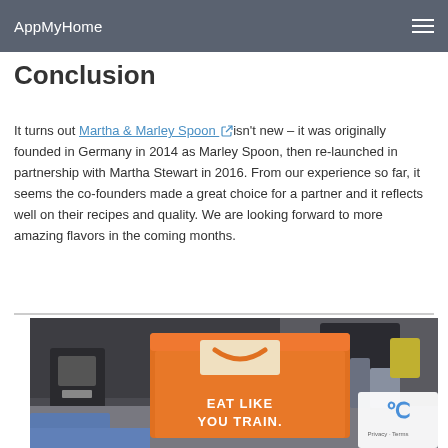$131.20 for 4 meals for 4 people per week
AppMyHome
Conclusion
It turns out Martha & Marley Spoon isn't new – it was originally founded in Germany in 2014 as Marley Spoon, then re-launched in partnership with Martha Stewart in 2016. From our experience so far, it seems the co-founders made a great choice for a partner and it reflects well on their recipes and quality. We are looking forward to more amazing flavors in the coming months.
[Figure (photo): Orange meal kit delivery box with a smile logo and text 'EAT LIKE YOU TRAIN.' on a kitchen counter, with a coffee maker and other kitchen items in the background.]